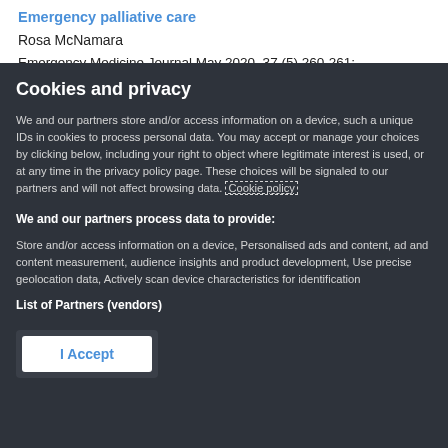Emergency palliative care
Rosa McNamara
Emergency Medicine Journal May 2020, 37 (5) 260-261;
DOI 10.1136/...2020-209464
Cookies and privacy
We and our partners store and/or access information on a device, such a unique IDs in cookies to process personal data. You may accept or manage your choices by clicking below, including your right to object where legitimate interest is used, or at any time in the privacy policy page. These choices will be signaled to our partners and will not affect browsing data. Cookie policy
We and our partners process data to provide:
Store and/or access information on a device, Personalised ads and content, ad and content measurement, audience insights and product development, Use precise geolocation data, Actively scan device characteristics for identification
List of Partners (vendors)
I Accept